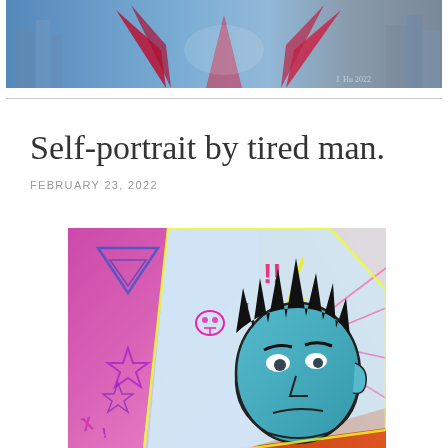[Figure (illustration): Colorful illustration of a figure with red/purple wings and cape against a blue sky with buildings in the background, signed 'J. Hu 2022']
Self-portrait by tired man.
FEBRUARY 23, 2022
[Figure (illustration): Comic-style self-portrait illustration of a tired-looking man with dark spiky hair and teal face, surrounded by graffiti-style elements including stars, skulls, exclamation marks on a vibrant pink and purple halftone background]